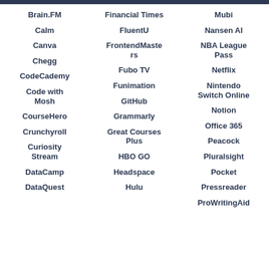Brain.FM
Calm
Canva
Chegg
CodeCademy
Code with Mosh
CourseHero
Crunchyroll
Curiosity Stream
DataCamp
DataQuest
Financial Times
FluentU
FrontendMasters
Fubo TV
Funimation
GitHub
Grammarly
Great Courses Plus
HBO GO
Headspace
Hulu
Mubi
Nansen AI
NBA League Pass
Netflix
Nintendo Switch Online
Notion
Office 365
Peacock
Pluralsight
Pocket
Pressreader
ProWritingAid